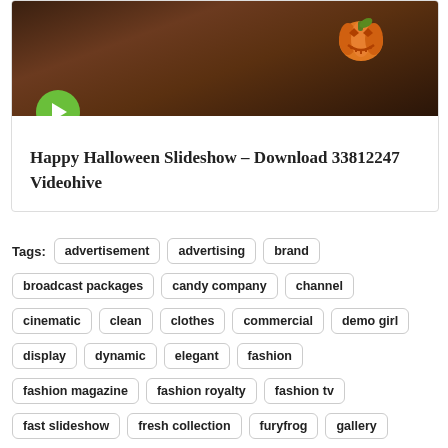[Figure (photo): Halloween-themed thumbnail showing a wooden surface with a pumpkin in the upper right, dark brown tones, with a green play button circle overlapping the bottom-left of the image.]
Happy Halloween Slideshow – Download 33812247 Videohive
Tags: advertisement  advertising  brand
broadcast packages
candy company
channel
cinematic
clean
clothes
commercial
demo girl
display
dynamic
elegant
fashion
fashion magazine
fashion royalty
fashion tv
fast slideshow
fresh collection
furyfrog
gallery